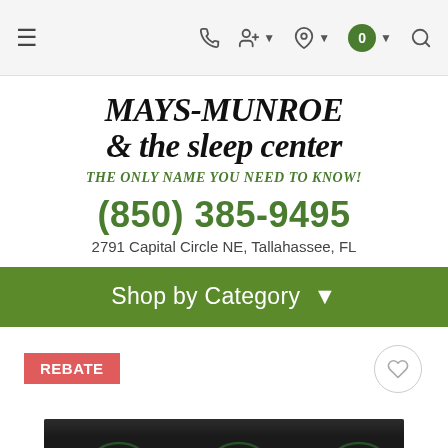Navigation bar with hamburger menu, phone, account, location, cart (0), and search icons
MAYS-MUNROE & the sleep center
THE ONLY NAME YOU NEED TO KNOW!
(850) 385-9495
2791 Capital Circle NE, Tallahassee, FL
Shop by Category
REBATE
[Figure (photo): Product photo of a black glass cooktop/range, partially visible at the bottom of the page with circular burner marks visible]